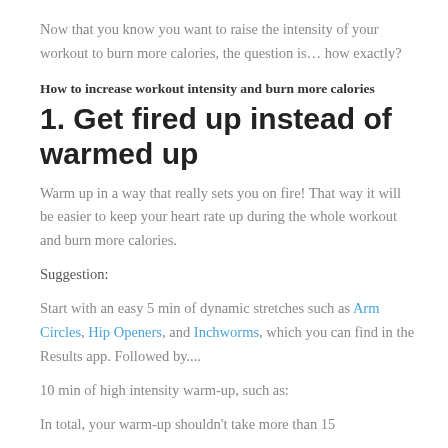Now that you know you want to raise the intensity of your workout to burn more calories, the question is… how exactly?
How to increase workout intensity and burn more calories
1. Get fired up instead of warmed up
Warm up in a way that really sets you on fire! That way it will be easier to keep your heart rate up during the whole workout and burn more calories.
Suggestion:
Start with an easy 5 min of dynamic stretches such as Arm Circles, Hip Openers, and Inchworms, which you can find in the Results app. Followed by....
10 min of high intensity warm-up, such as:
In total, your warm-up shouldn't take more than 15